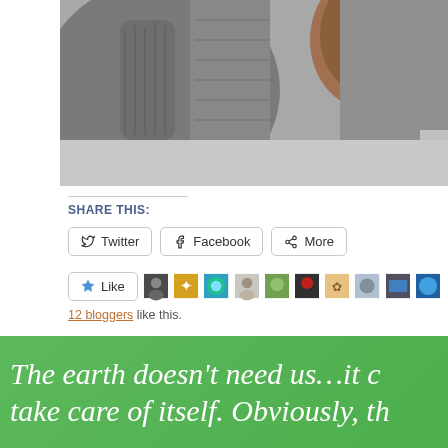[Figure (photo): Close-up photograph of elephants, showing textured gray skin, trunks and ear detail. Right side partially obscured by gray bar.]
SHARE THIS:
Twitter   Facebook   More
Like   [12 blogger avatars]
12 bloggers like this.
WRITTEN ON APRIL 25, 2021
The earth doesn't need us…it c take care of itself. Obviously, th